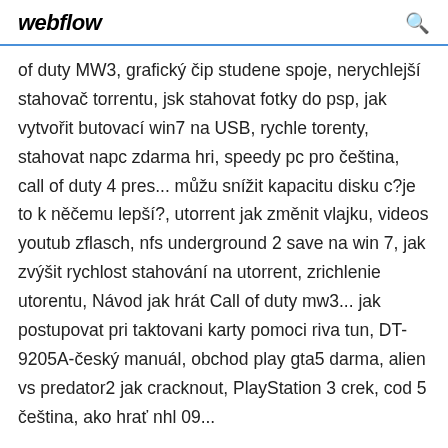webflow
of duty MW3, grafický čip studene spoje, nerychlejší stahovač torrentu, jsk stahovat fotky do psp, jak vytvořit butovací win7 na USB, rychle torenty, stahovat napc zdarma hri, speedy pc pro čeština, call of duty 4 pres... můžu snížit kapacitu disku c?je to k něčemu lepší?, utorrent jak změnit vlajku, videos youtub zflasch, nfs underground 2 save na win 7, jak zvýšit rychlost stahování na utorrent, zrichlenie utorentu, Návod jak hrát Call of duty mw3... jak postupovat pri taktovani karty pomoci riva tun, DT-9205A-český manuál, obchod play gta5 darma, alien vs predator2 jak cracknout, PlayStation 3 crek, cod 5 čeština, ako hrať nhl 09...